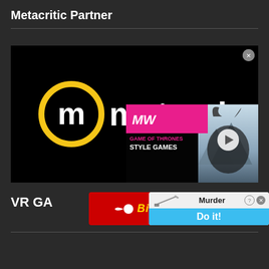Metacritic Partner
[Figure (logo): Metacritic logo on black background — yellow circle with white 'm' letter inside, followed by white text 'metacritic']
[Figure (screenshot): Game of Thrones Style Games advertisement with pink/magenta branding, MW logo, play button overlay, and game imagery]
[Figure (screenshot): BitLife app advertisement with red background and gold italic 'BitLife' text]
[Figure (screenshot): Murder game advertisement with 'Do it!' call to action button in blue]
VR GA